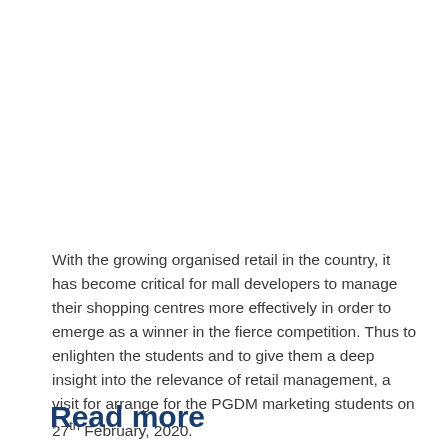With the growing organised retail in the country, it has become critical for mall developers to manage their shopping centres more effectively in order to emerge as a winner in the fierce competition. Thus to enlighten the students and to give them a deep insight into the relevance of retail management, a visit for arrange for the PGDM marketing students on 27th February, 2020.
Read more